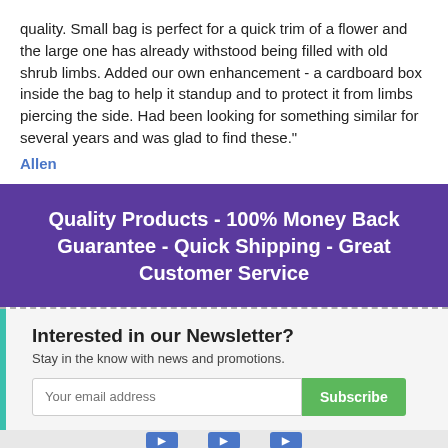quality. Small bag is perfect for a quick trim of a flower and the large one has already withstood being filled with old shrub limbs. Added our own enhancement - a cardboard box inside the bag to help it standup and to protect it from limbs piercing the side. Had been looking for something similar for several years and was glad to find these."
Allen
Quality Products - 100% Money Back Guarantee - Quick Shipping - Great Customer Service
Interested in our Newsletter?
Stay in the know with news and promotions.
Your email address
Subscribe